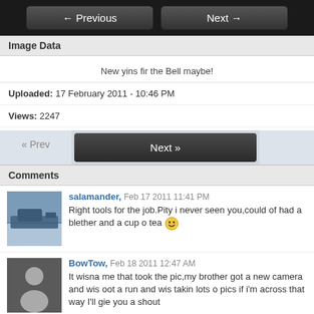← Previous   Next →
Image Data
New yins fir the Bell maybe!
Uploaded: 17 February 2011 - 10:46 PM
Views: 2247
Comments
salamander, Feb 17 2011 11:41 PM
Right tools for the job.Pity i never seen you,could of had a blether and a cup o tea
BowTow, Feb 18 2011 12:47 AM
It wisna me that took the pic,my brother got a new camera and wis oot a run and wis takin lots o pics if i'm across that way I'll gie you a shout
westword, Feb 18 2011 02:47 PM
salamander,s got the secret weapons noo... these are just